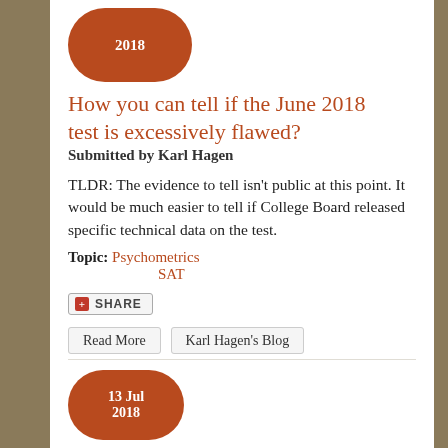[Figure (other): Date badge pill showing '2018' in white text on dark red/brown background]
How you can tell if the June 2018 test is excessively flawed?
Submitted by Karl Hagen
TLDR: The evidence to tell isn't public at this point. It would be much easier to tell if College Board released specific technical data on the test.
Topic: Psychometrics
      SAT
[Figure (other): Share button with red plus icon]
Read More
Karl Hagen's Blog
[Figure (other): Date badge pill showing '13 Jul 2018' in white text on dark red/brown background]
How do the SAT Scales Really Work?